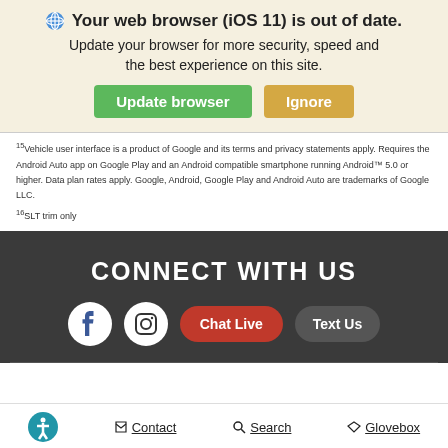[Figure (screenshot): Browser update notification banner with globe icon, bold title 'Your web browser (iOS 11) is out of date.', subtitle text, and two buttons: 'Update browser' (green) and 'Ignore' (yellow/orange)]
¹⁵Vehicle user interface is a product of Google and its terms and privacy statements apply. Requires the Android Auto app on Google Play and an Android compatible smartphone running Android™ 5.0 or higher. Data plan rates apply. Google, Android, Google Play and Android Auto are trademarks of Google LLC.
¹⁶SLT trim only
CONNECT WITH US
[Figure (screenshot): Social media icons row: Facebook circle icon, Instagram circle icon, a red 'Chat Live' pill button, and a dark 'Text Us' pill button]
Accessibility icon | Contact | Search | Glovebox